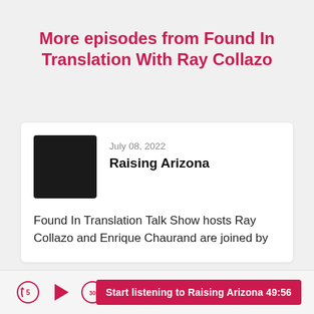More episodes from Found In Translation With Ray Collazo
July 08, 2022
Raising Arizona
Found In Translation Talk Show hosts Ray Collazo and Enrique Chaurand are joined by
Start listening to Raising Arizona 49:56